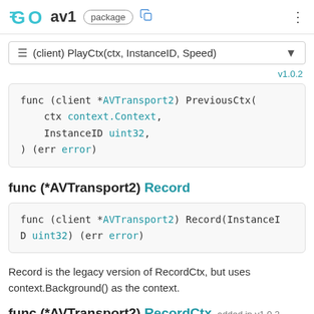GO av1 package
(client) PlayCtx(ctx, InstanceID, Speed)
v1.0.2
func (client *AVTransport2) PreviousCtx(
    ctx context.Context,
    InstanceID uint32,
) (err error)
func (*AVTransport2) Record
func (client *AVTransport2) Record(InstanceID uint32) (err error)
Record is the legacy version of RecordCtx, but uses context.Background() as the context.
func (*AVTransport2) RecordCtx   added in v1.0.2